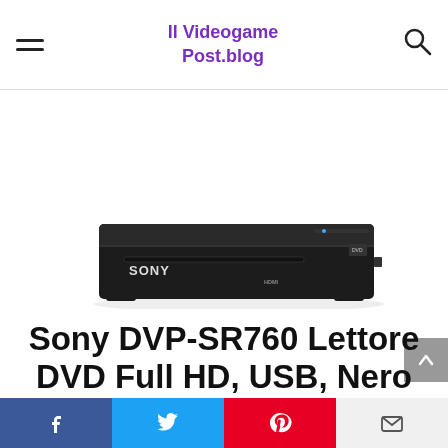Il Videogame Post.blog
[Figure (photo): Sony DVP-SR760 DVD player, black, slim design with HDMI port and USB, front view showing SONY branding and disc slot]
Sony DVP-SR760 Lettore DVD Full HD, USB, Nero